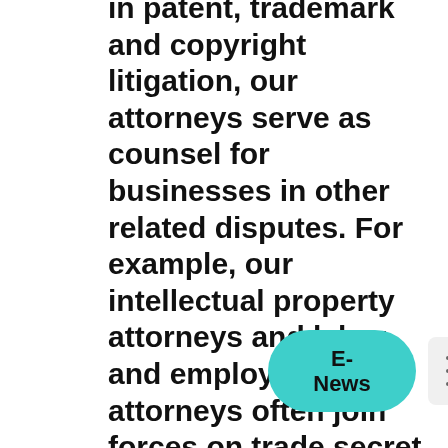in patent, trademark and copyright litigation, our attorneys serve as counsel for businesses in other related disputes. For example, our intellectual property attorneys and labor and employment attorneys often join forces on trade secret litigation and disputes, our attorneys work with clients on disputes arising from the unauthorized use of the client's name, image and likeness, and our attorneys handle cases involving false advertising and unfair competition. We also serve as counsel in UDRP proceedings, which are legal actions regarding the registration of domain names and websites.
[Figure (other): E-News button overlay (teal rounded pill) with hamburger menu icon beside it]